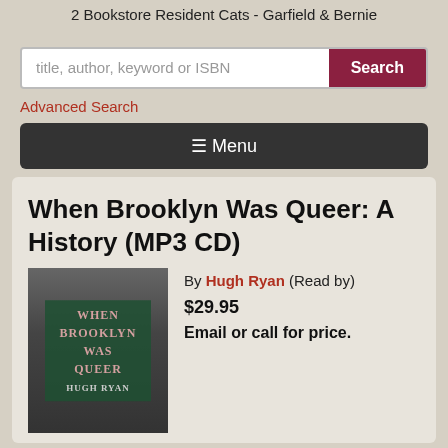2 Bookstore Resident Cats - Garfield & Bernie
title, author, keyword or ISBN
Search
Advanced Search
☰ Menu
When Brooklyn Was Queer: A History (MP3 CD)
[Figure (photo): Book cover for 'When Brooklyn Was Queer' by Hugh Ryan, showing two men in hats, black and white photo with green title overlay]
By Hugh Ryan (Read by)
$29.95
Email or call for price.